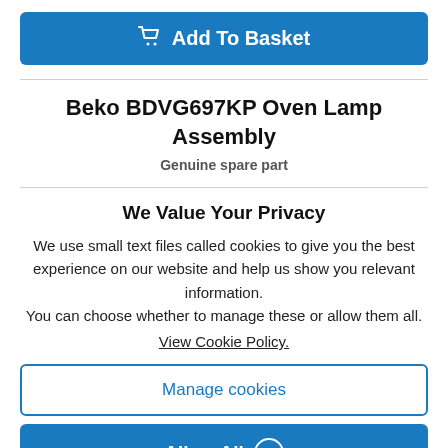[Figure (other): Add To Basket button with shopping cart icon, blue background]
Beko BDVG697KP Oven Lamp Assembly
Genuine spare part
We Value Your Privacy
We use small text files called cookies to give you the best experience on our website and help us show you relevant information.
You can choose whether to manage these or allow them all.
View Cookie Policy.
Manage cookies
Allow All